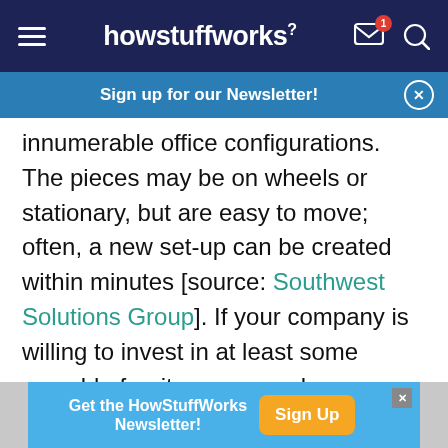howstuffworks
Sign up for our Newsletter!
innumerable office configurations. The pieces may be on wheels or stationary, but are easy to move; often, a new set-up can be created within minutes [source: Southwest Solutions Group]. If your company is willing to invest in at least some movable furniture, you and your colleagues can work collaboratively when it's helpful, then return to your own spaces when the project or need is over. It's the best of both worlds, really.
Get the HowStuffWorks Newsletter! Sign Up